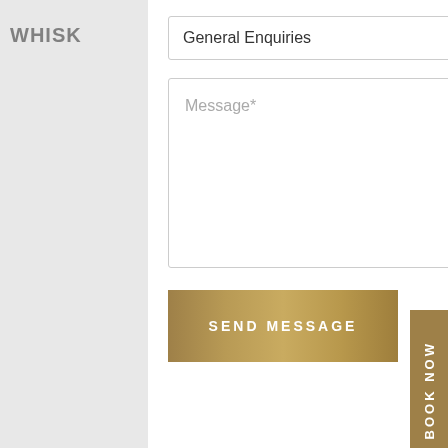WHISK
General Enquiries
Message*
SEND MESSAGE
BOOK NOW